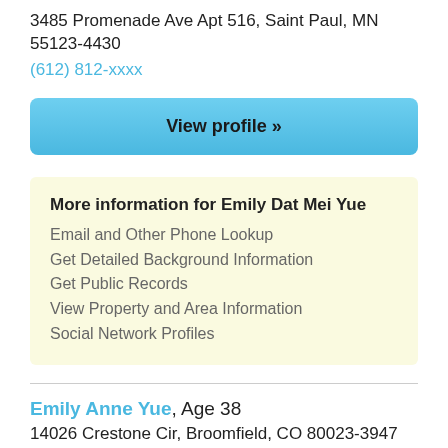3485 Promenade Ave Apt 516, Saint Paul, MN 55123-4430
(612) 812-xxxx
View profile »
More information for Emily Dat Mei Yue
Email and Other Phone Lookup
Get Detailed Background Information
Get Public Records
View Property and Area Information
Social Network Profiles
Emily Anne Yue, Age 38
14026 Crestone Cir, Broomfield, CO 80023-3947
(612) 812-xxxx
View profile »